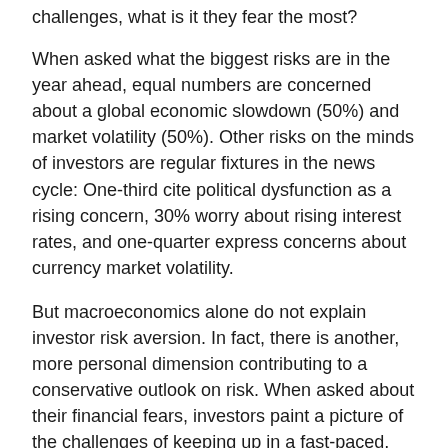challenges, what is it they fear the most?
When asked what the biggest risks are in the year ahead, equal numbers are concerned about a global economic slowdown (50%) and market volatility (50%). Other risks on the minds of investors are regular fixtures in the news cycle: One-third cite political dysfunction as a rising concern, 30% worry about rising interest rates, and one-quarter express concerns about currency market volatility.
But macroeconomics alone do not explain investor risk aversion. In fact, there is another, more personal dimension contributing to a conservative outlook on risk. When asked about their financial fears, investors paint a picture of the challenges of keeping up in a fast-paced, growing economy.
Almost half (48%) of investors worldwide said one of their greatest fears is an unexpected expense – a